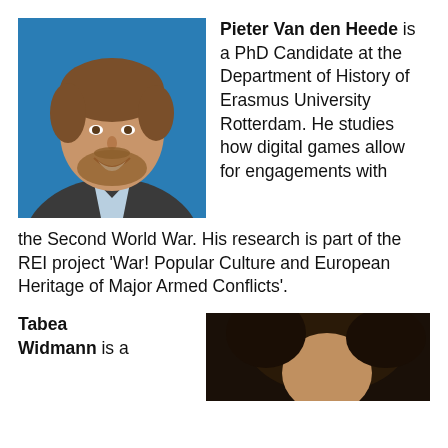[Figure (photo): Headshot photo of Pieter Van den Heede, a young man with brown hair and beard, smiling, wearing a grey blazer and light blue shirt, blue background]
Pieter Van den Heede is a PhD Candidate at the Department of History of Erasmus University Rotterdam. He studies how digital games allow for engagements with the Second World War. His research is part of the REI project ‘War! Popular Culture and European Heritage of Major Armed Conflicts’.
Tabea Widmann is a
[Figure (photo): Headshot photo of Tabea Widmann, partially visible, dark tones]